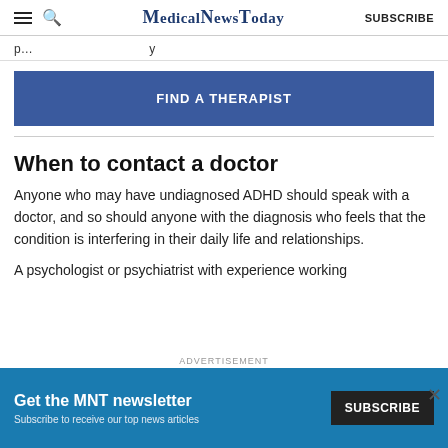MedicalNewsToday | SUBSCRIBE
p…y
[Figure (other): FIND A THERAPIST button — dark blue rectangular banner button]
When to contact a doctor
Anyone who may have undiagnosed ADHD should speak with a doctor, and so should anyone with the diagnosis who feels that the condition is interfering in their daily life and relationships.
A psychologist or psychiatrist with experience working
[Figure (other): ADVERTISEMENT banner — Get the MNT newsletter. Subscribe to receive our top news articles. SUBSCRIBE button.]